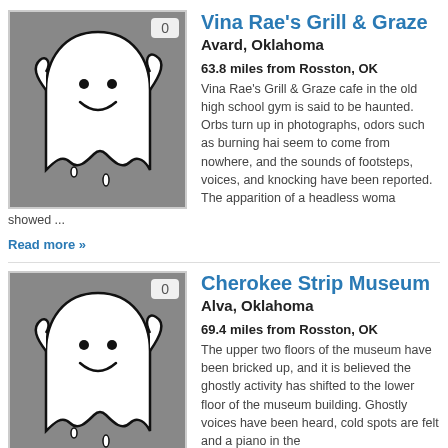[Figure (illustration): Ghost cartoon illustration on grey background with badge showing 0]
Vina Rae's Grill & Graze
Avard, Oklahoma
63.8 miles from Rosston, OK
Vina Rae's Grill & Graze cafe in the old high school gym is said to be haunted. Orbs turn up in photographs, odors such as burning hair seem to come from nowhere, and the sounds of footsteps, voices, and knocking have been reported. The apparition of a headless woman showed ...
Read more »
[Figure (illustration): Ghost cartoon illustration on grey background with badge showing 0]
Cherokee Strip Museum
Alva, Oklahoma
69.4 miles from Rosston, OK
The upper two floors of the museum have been bricked up, and it is believed the ghostly activity has shifted to the lower floor of the museum building. Ghostly voices have been heard, cold spots are felt and a piano in the